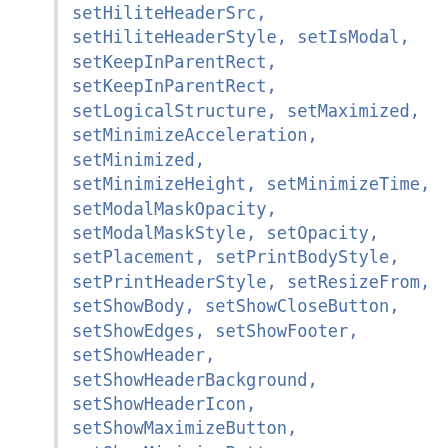setHiliteHeaderSrc, setHiliteHeaderStyle, setIsModal, setKeepInParentRect, setKeepInParentRect, setLogicalStructure, setMaximized, setMinimizeAcceleration, setMinimized, setMinimizeHeight, setMinimizeTime, setModalMaskOpacity, setModalMaskStyle, setOpacity, setPlacement, setPrintBodyStyle, setPrintHeaderStyle, setResizeFrom, setShowBody, setShowCloseButton, setShowEdges, setShowFooter, setShowHeader, setShowHeaderBackground, setShowHeaderIcon, setShowMaximizeButton, setShowMinimizeButton, setShowModalMask, setShowResizer, setShowShadow, setShowStatusBar, setShowTitle, setS...